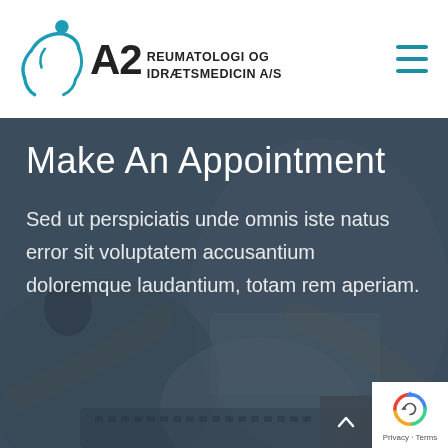[Figure (logo): A2 Reumatologi og Idrætsmedicin A/S logo with blue figure and text]
Make An Appointment
Sed ut perspiciatis unde omnis iste natus error sit voluptatem accusantium doloremque laudantium, totam rem aperiam.